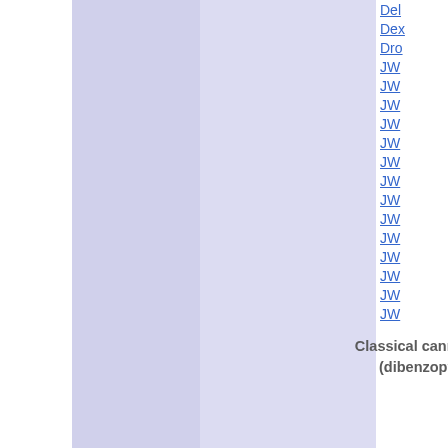[Figure (infographic): A portion of a diagram showing a lavender/light purple background panel (Classical cannabinoids dibenzopyrans category) with a right-side column of truncated blue hyperlinks starting with Del, Dex, Dro, JW (multiple entries)]
Classical cannabinoids (dibenzopyrans)
Del
Dex
Dro
JW
JW
JW
JW
JW
JW
JW
JW
JW
JW
JW
JW
JW
JW